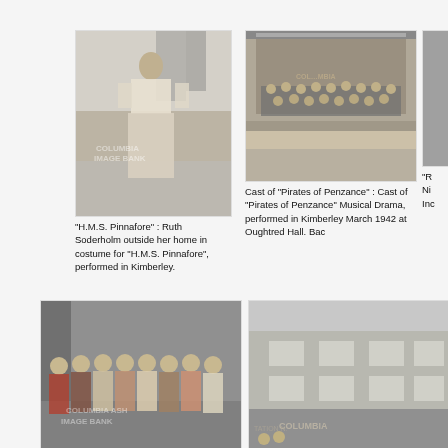[Figure (photo): Black and white photo of Ruth Soderholm standing outside her home in costume for H.M.S. Pinnafore, with watermark Columbia Image Bank]
"H.M.S. Pinnafore" : Ruth Soderholm outside her home in costume for "H.M.S. Pinnafore", performed in Kimberley.
[Figure (photo): Black and white photo of the cast of Pirates of Penzance on stage at Oughtred Hall, Kimberley, March 1942]
Cast of "Pirates of Penzance" : Cast of "Pirates of Penzance" Musical Drama, performed in Kimberley March 1942 at Oughtred Hall. Bac
[Figure (photo): Partial black and white photo on right edge, truncated, showing text starting with R, Night, Inc]
"R...
Ni...
Inc...
[Figure (photo): Black and white group photo of women standing in a row in costumes, with Columbia Image Bank watermark]
[Figure (photo): Black and white photo of a building storefront with Columbia visible and people standing outside]